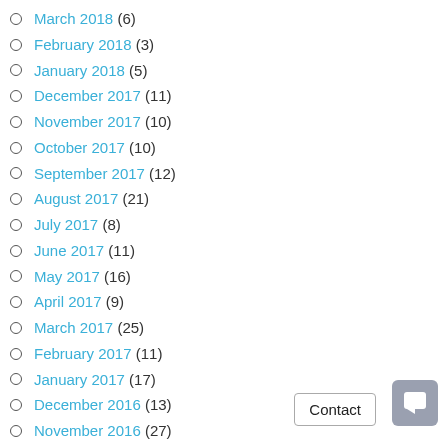March 2018 (6)
February 2018 (3)
January 2018 (5)
December 2017 (11)
November 2017 (10)
October 2017 (10)
September 2017 (12)
August 2017 (21)
July 2017 (8)
June 2017 (11)
May 2017 (16)
April 2017 (9)
March 2017 (25)
February 2017 (11)
January 2017 (17)
December 2016 (13)
November 2016 (27)
October 2016 (19)
September 2016 (23)